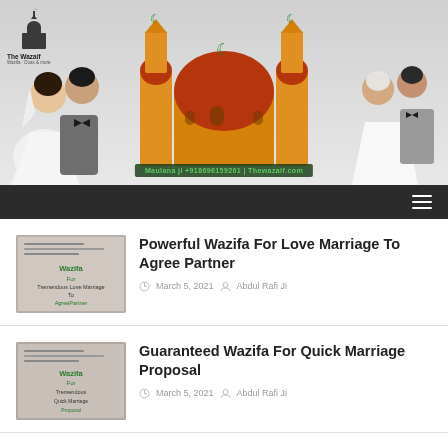[Figure (illustration): Website header banner with logo 'The Wazaif', illustrated Muslim couple on left, mosque in center with green crescent, another couple on right, and contact text overlay 'Maulana ji +918696159261 | Thewazaif.com']
The Wazaif
[Figure (screenshot): Navigation bar with dark background and hamburger menu icon on right]
[Figure (photo): Thumbnail image for article: Powerful Wazifa For Love Marriage To Agree Partner - shows text overlay on decorative background]
Powerful Wazifa For Love Marriage To Agree Partner
March 5, 2021   Abdul Rafi Ji
[Figure (photo): Thumbnail image for article: Guaranteed Wazifa For Quick Marriage Proposal - shows text overlay on decorative background]
Guaranteed Wazifa For Quick Marriage Proposal
March 5, 2021   Abdul Rafi Ji